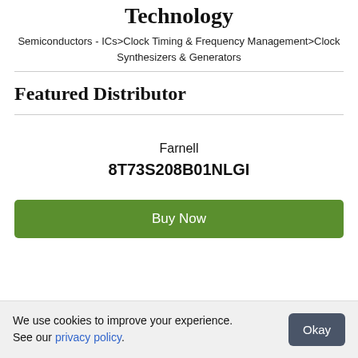Technology
Semiconductors - ICs>Clock Timing & Frequency Management>Clock Synthesizers & Generators
Featured Distributor
Farnell
8T73S208B01NLGI
[Figure (other): Green 'Buy Now' button]
We use cookies to improve your experience. See our privacy policy.